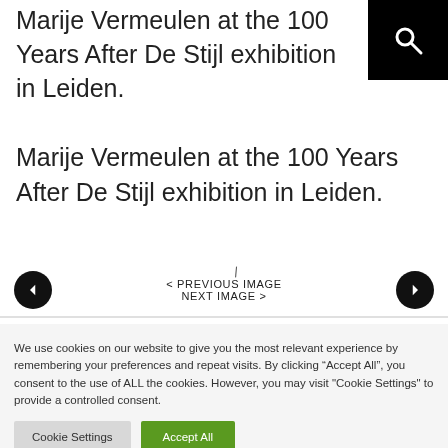Marije Vermeulen at the 100 Years After De Stijl exhibition in Leiden.
Marije Vermeulen at the 100 Years After De Stijl exhibition in Leiden.
< PREVIOUS IMAGE
NEXT IMAGE >
We use cookies on our website to give you the most relevant experience by remembering your preferences and repeat visits. By clicking “Accept All”, you consent to the use of ALL the cookies. However, you may visit "Cookie Settings" to provide a controlled consent.